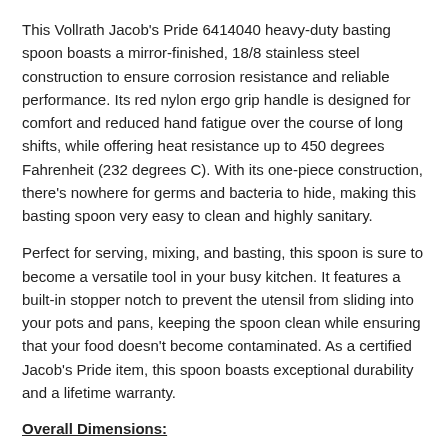This Vollrath Jacob's Pride 6414040 heavy-duty basting spoon boasts a mirror-finished, 18/8 stainless steel construction to ensure corrosion resistance and reliable performance. Its red nylon ergo grip handle is designed for comfort and reduced hand fatigue over the course of long shifts, while offering heat resistance up to 450 degrees Fahrenheit (232 degrees C). With its one-piece construction, there's nowhere for germs and bacteria to hide, making this basting spoon very easy to clean and highly sanitary.
Perfect for serving, mixing, and basting, this spoon is sure to become a versatile tool in your busy kitchen. It features a built-in stopper notch to prevent the utensil from sliding into your pots and pans, keeping the spoon clean while ensuring that your food doesn't become contaminated. As a certified Jacob's Pride item, this spoon boasts exceptional durability and a lifetime warranty.
Overall Dimensions:
Length: 14"
⚠ Attention CA Residents: Prop 65 Warning ›